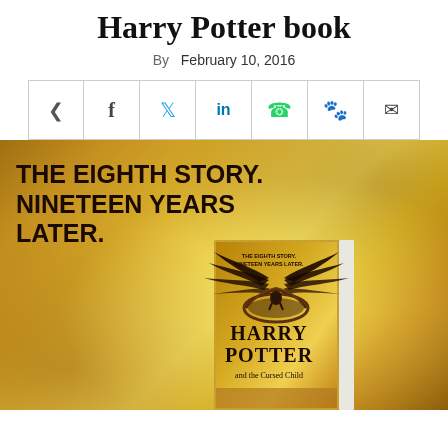Harry Potter book
By   February 10, 2016
[Figure (infographic): Social media share bar with icons: share, facebook, twitter, linkedin, whatsapp, reddit, email]
[Figure (photo): Harry Potter and the Cursed Child book cover promotional image on golden textured background with text 'THE EIGHTH STORY. NINETEEN YEARS LATER.' The book cover shows a figure in a bird nest with dark wings spread above.]